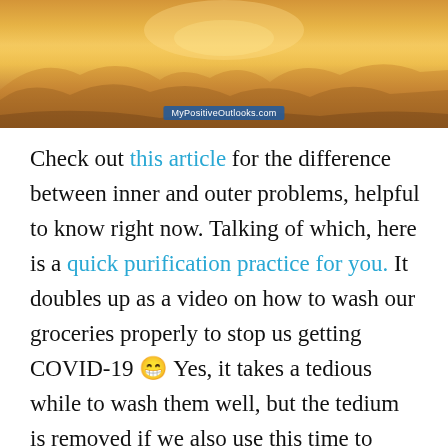[Figure (photo): A warm orange/golden hazy landscape photo with mountains in the background, with a MyPositiveOutlooks.com watermark badge at the bottom center.]
Check out this article for the difference between inner and outer problems, helpful to know right now. Talking of which, here is a quick purification practice for you. It doubles up as a video on how to wash our groceries properly to stop us getting COVID-19 😁 Yes, it takes a tedious while to wash them well, but the tedium is removed if we also use this time to solve not just the outer problem but the inner problem by purifying our mind. For example, we can think: